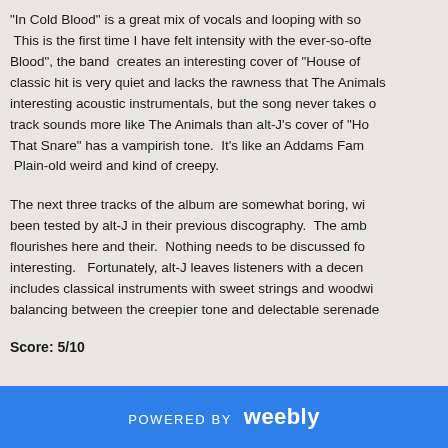"In Cold Blood" is a great mix of vocals and looping with so… This is the first time I have felt intensity with the ever-so-oft… Blood", the band creates an interesting cover of "House of… classic hit is very quiet and lacks the rawness that The Animals… interesting acoustic instrumentals, but the song never takes o… track sounds more like The Animals than alt-J's cover of "Ho… That Snare" has a vampirish tone. It's like an Addams Fam… Plain-old weird and kind of creepy.
The next three tracks of the album are somewhat boring, wi… been tested by alt-J in their previous discography. The amb… flourishes here and their. Nothing needs to be discussed fo… interesting. Fortunately, alt-J leaves listeners with a decen… includes classical instruments with sweet strings and woodwi… balancing between the creepier tone and delectable serenade…
Score: 5/10
POWERED BY weebly